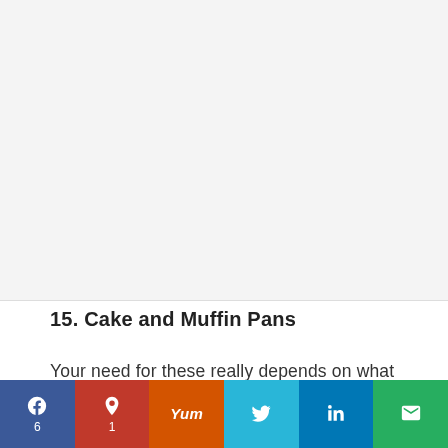[Figure (photo): Placeholder image area at the top of the page, light gray background]
15. Cake and Muffin Pans
Your need for these really depends on what you plan on making! If baking cakes aren't in your future, feel free to skip a cake pan. But if you love brownies, it may be nice to at least have a square cake pan on hand.
f 6 | p 1 | Yum | tweet | in | email